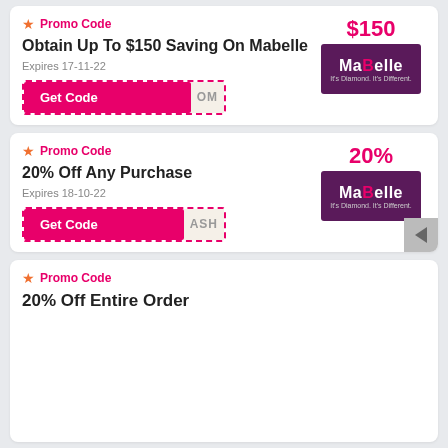Promo Code
Obtain Up To $150 Saving On Mabelle
Expires 17-11-22
Get Code OM
$150
[Figure (logo): MaBelle brand logo - purple background with white text reading MaBelle It's Diamond. It's Different.]
Promo Code
20% Off Any Purchase
Expires 18-10-22
Get Code ASH
20%
[Figure (logo): MaBelle brand logo - purple background with white text reading MaBelle It's Diamond. It's Different.]
Promo Code
20% Off Entire Order